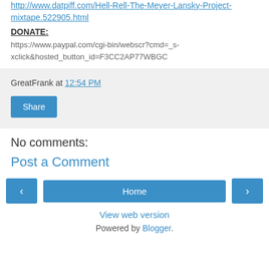http://www.datpiff.com/Hell-Rell-The-Meyer-Lansky-Project-mixtape.522905.html
DONATE:
https://www.paypal.com/cgi-bin/webscr?cmd=_s-xclick&hosted_button_id=F3CC2AP77WBGC
GreatFrank at 12:54 PM
Share
No comments:
Post a Comment
Home
View web version
Powered by Blogger.